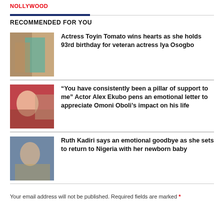NOLLYWOOD
RECOMMENDED FOR YOU
Actress Toyin Tomato wins hearts as she holds 93rd birthday for veteran actress Iya Osogbo
“You have consistently been a pillar of support to me” Actor Alex Ekubo pens an emotional letter to appreciate Omoni Oboli’s impact on his life
Ruth Kadiri says an emotional goodbye as she sets to return to Nigeria with her newborn baby
Your email address will not be published. Required fields are marked *